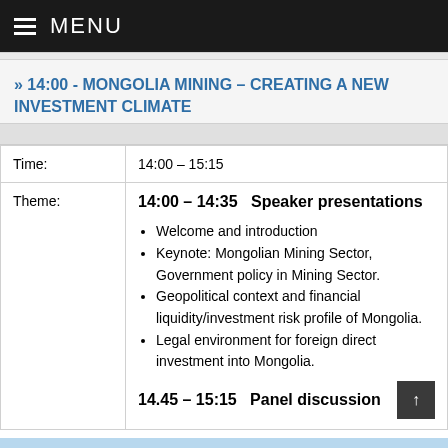MENU
» 14:00 - MONGOLIA MINING – CREATING A NEW INVESTMENT CLIMATE
|  |  |
| --- | --- |
| Time: | 14:00 – 15:15 |
| Theme: | 14:00 – 14:35   Speaker presentations
• Welcome and introduction
• Keynote: Mongolian Mining Sector, Government policy in Mining Sector.
• Geopolitical context and financial liquidity/investment risk profile of Mongolia.
• Legal environment for foreign direct investment into Mongolia.
14.45 – 15:15    Panel discussion |